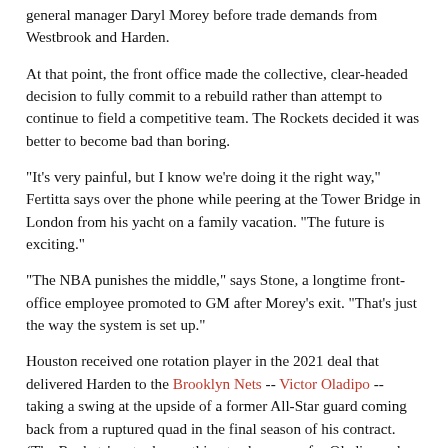general manager Daryl Morey before trade demands from Westbrook and Harden.
At that point, the front office made the collective, clear-headed decision to fully commit to a rebuild rather than attempt to continue to field a competitive team. The Rockets decided it was better to become bad than boring.
"It's very painful, but I know we're doing it the right way," Fertitta says over the phone while peering at the Tower Bridge in London from his yacht on a family vacation. "The future is exciting."
"The NBA punishes the middle," says Stone, a longtime front-office employee promoted to GM after Morey's exit. "That's just the way the system is set up."
Houston received one rotation player in the 2021 deal that delivered Harden to the Brooklyn Nets -- Victor Oladipo -- taking a swing at the upside of a former All-Star guard coming back from a ruptured quad in the final season of his contract. (The Rockets' roster has nothing to show now for Oladipo, who was sent to the Miami Heat before the 2022 trade deadline.)
The Rockets could have taken center Jarrett Allen in the deal, but they opted to add another first-round pick by rerouting him to the